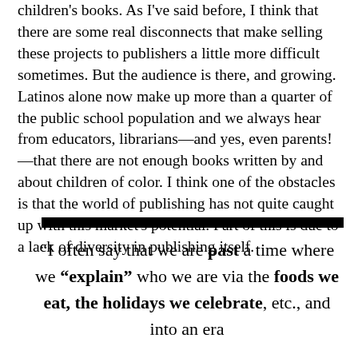children's books. As I've said before, I think that there are some real disconnects that make selling these projects to publishers a little more difficult sometimes. But the audience is there, and growing. Latinos alone now make up more than a quarter of the public school population and we always hear from educators, librarians—and yes, even parents!—that there are not enough books written by and about children of color. I think one of the obstacles is that the world of publishing has not quite caught up with this market's potential. Part of this is due to a lack of diversity in publishing itself.
“I often say that we are past a time where we “explain” who we are via the foods we eat, the holidays we celebrate, etc., and into an era